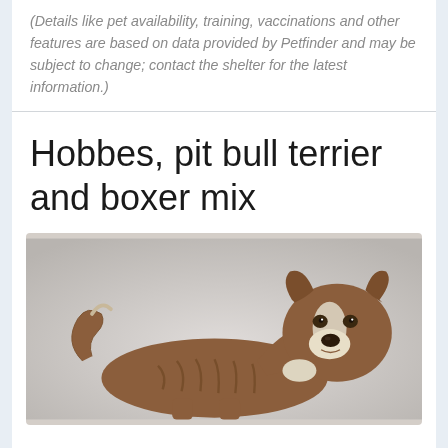(Details like pet availability, training, vaccinations and other features are based on data provided by Petfinder and may be subject to change; contact the shelter for the latest information.)
Hobbes, pit bull terrier and boxer mix
[Figure (photo): A brown and white pit bull terrier and boxer mix dog standing and facing the camera, on a light grey background. The dog has a muscular build, brown brindle coat with white markings on the face and chest.]